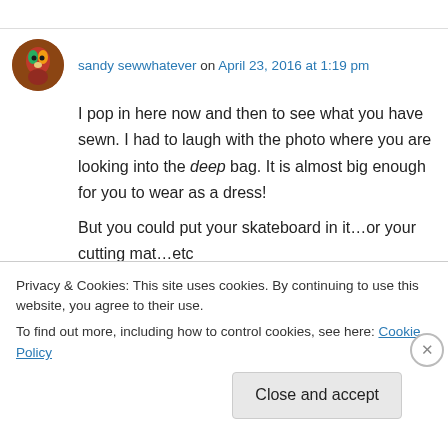sandy sewwhatever on April 23, 2016 at 1:19 pm
I pop in here now and then to see what you have sewn. I had to laugh with the photo where you are looking into the deep bag. It is almost big enough for you to wear as a dress!
But you could put your skateboard in it…or your cutting mat…etc
Privacy & Cookies: This site uses cookies. By continuing to use this website, you agree to their use.
To find out more, including how to control cookies, see here: Cookie Policy
Close and accept